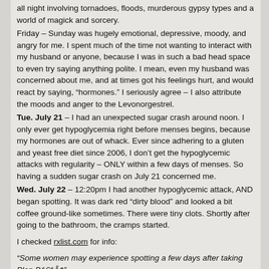all night involving tornadoes, floods, murderous gypsy types and a world of magick and sorcery.
Friday – Sunday was hugely emotional, depressive, moody, and angry for me. I spent much of the time not wanting to interact with my husband or anyone, because I was in such a bad head space to even try saying anything polite. I mean, even my husband was concerned about me, and at times got his feelings hurt, and would react by saying, “hormones.” I seriously agree – I also attribute the moods and anger to the Levonorgestrel.
Tue. July 21 – I had an unexpected sugar crash around noon. I only ever get hypoglycemia right before menses begins, because my hormones are out of whack. Ever since adhering to a gluten and yeast free diet since 2006, I don’t get the hypoglycemic attacks with regularity – ONLY within a few days of menses. So having a sudden sugar crash on July 21 concerned me.
Wed. July 22 – 12:20pm I had another hypoglycemic attack, AND began spotting. It was dark red “dirty blood” and looked a bit coffee ground-like sometimes. There were tiny clots. Shortly after going to the bathroom, the cramps started.
I checked rxlist.com for info:
“Some women may experience spotting a few days after taking Plan B®”.